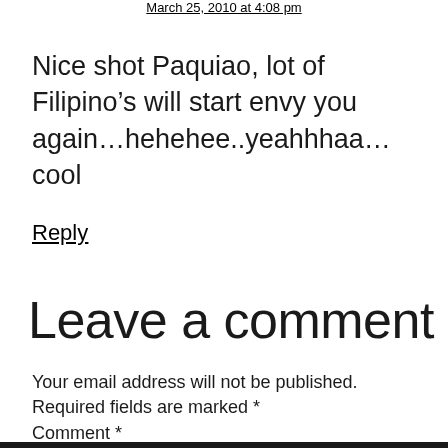March 25, 2010 at 4:08 pm
Nice shot Paquiao, lot of Filipino’s will start envy you again…hehehee..yeahhhaa…cool
Reply
Leave a comment
Your email address will not be published. Required fields are marked *
Comment *